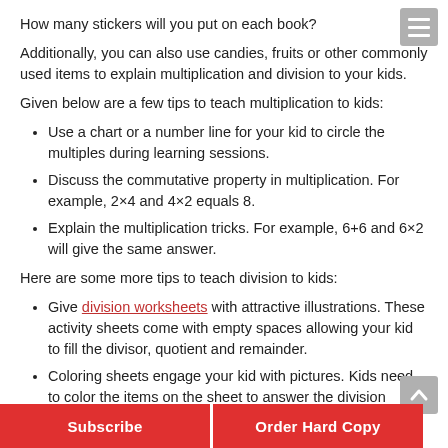How many stickers will you put on each book?
Additionally, you can also use candies, fruits or other commonly used items to explain multiplication and division to your kids.
Given below are a few tips to teach multiplication to kids:
Use a chart or a number line for your kid to circle the multiples during learning sessions.
Discuss the commutative property in multiplication. For example, 2×4 and 4×2 equals 8.
Explain the multiplication tricks. For example, 6+6 and 6×2 will give the same answer.
Here are some more tips to teach division to kids:
Give division worksheets with attractive illustrations. These activity sheets come with empty spaces allowing your kid to fill the divisor, quotient and remainder.
Coloring sheets engage your kid with pictures. Kids need to color the items on the sheet to answer the division question. To make it easy for kids, coloring worksheets include only one concept on each page.